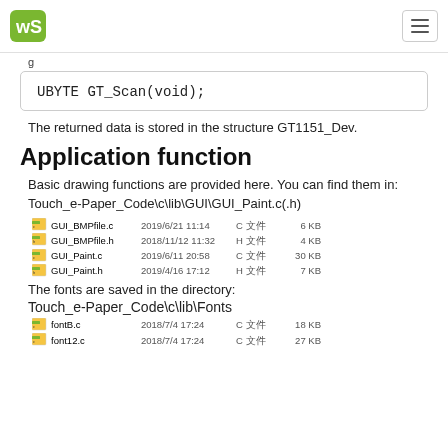WS logo and hamburger menu
The returned data is stored in the structure GT1151_Dev.
Application function
Basic drawing functions are provided here. You can find them in: Touch_e-Paper_Code\c\lib\GUI\GUI_Paint.c(.h)
[Figure (screenshot): File listing showing GUI_BMPfile.c, GUI_BMPfile.h, GUI_Paint.c, GUI_Paint.h with dates and sizes]
The fonts are saved in the directory:
Touch_e-Paper_Code\c\lib\Fonts
[Figure (screenshot): File listing showing fontB.c and font12.c with dates and sizes]